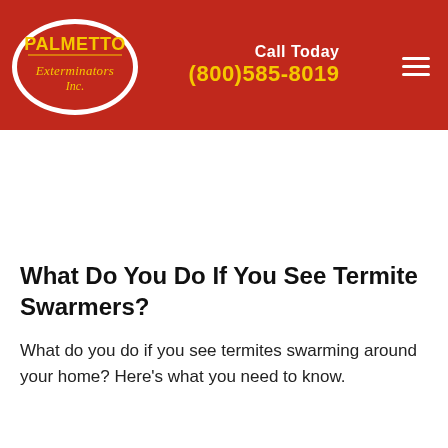[Figure (logo): Palmetto Exterminators Inc. logo — red oval with white border, yellow text reading PALMETTO in bold, and Exterminators Inc. in yellow script below]
Call Today (800)585-8019
What Do You Do If You See Termite Swarmers?
What do you do if you see termites swarming around your home? Here's what you need to know.